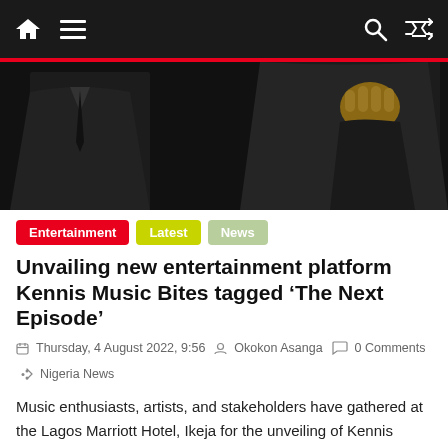Navigation bar with home, menu, search, and shuffle icons
[Figure (photo): Dark photo showing two men in suits, one with fist raised, against black background]
Entertainment
Latest
News
Unvailing new entertainment platform Kennis Music Bites tagged ‘The Next Episode’
Thursday, 4 August 2022, 9:56  Okokon Asanga  0 Comments  Nigeria News
Music enthusiasts, artists, and stakeholders have gathered at the Lagos Marriott Hotel, Ikeja for the unveiling of Kennis Music Bites
Read more